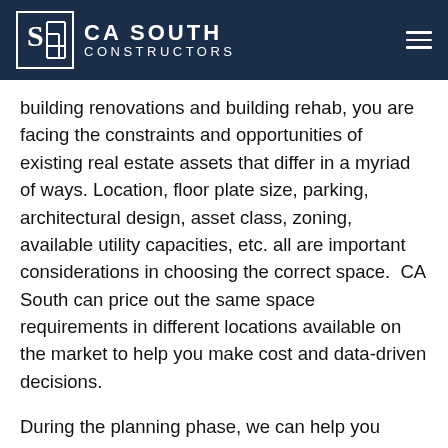CA SOUTH CONSTRUCTORS
building renovations and building rehab, you are facing the constraints and opportunities of existing real estate assets that differ in a myriad of ways. Location, floor plate size, parking, architectural design, asset class, zoning, available utility capacities, etc. all are important considerations in choosing the correct space.  CA South can price out the same space requirements in different locations available on the market to help you make cost and data-driven decisions.
During the planning phase, we can help you select the design and engineering teams so we can get to a set of preliminary drawings for our robust internal and subcontractor teams to build rough order of